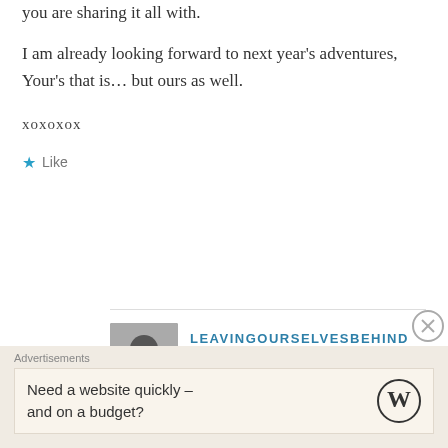you are sharing it all with.
I am already looking forward to next year's adventures, Your's that is… but ours as well.
xoxoxox
★ Like
LEAVINGOURSELVESBEHIND
December 18, 2017 / 9:29 pm
Dear Eveline – I wish you and Dirk wonderful adventures in Mexico and beyond. Where are you headed this year?
Advertisements
Need a website quickly – and on a budget?